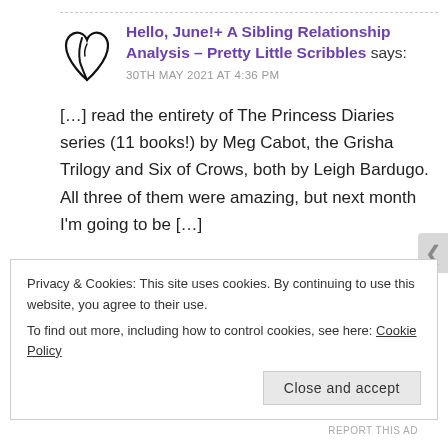[Figure (logo): Black hand-drawn heart/cursive Y logo]
Hello, June!+ A Sibling Relationship Analysis – Pretty Little Scribbles says:
30TH MAY 2021 AT 4:36 PM
[…] read the entirety of The Princess Diaries series (11 books!) by Meg Cabot, the Grisha Trilogy and Six of Crows, both by Leigh Bardugo. All three of them were amazing, but next month I'm going to be […]
Like
Privacy & Cookies: This site uses cookies. By continuing to use this website, you agree to their use.
To find out more, including how to control cookies, see here: Cookie Policy
Close and accept